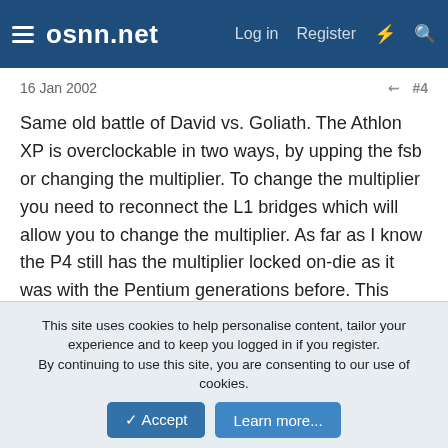osnn.net  Log in  Register
16 Jan 2002  #4
Same old battle of David vs. Goliath. The Athlon XP is overclockable in two ways, by upping the fsb or changing the multiplier. To change the multiplier you need to reconnect the L1 bridges which will allow you to change the multiplier. As far as I know the P4 still has the multiplier locked on-die as it was with the Pentium generations before. This makes for more overclocking options with the Athlon XP. For the question of high dollar coolers, just depends on how far you want to go and how cool of a CPU you want. There are some high dollar coolers out there but i have found great performance in the Thermalright SK-6. I have a T-Bird 1.33 Ghz and run at about 40 C using ASII. I had a Volcano 5 before and was running anywhere from 49-52 C using ASII. The Athlon XP also tends to run a bit cooler
This site uses cookies to help personalise content, tailor your experience and to keep you logged in if you register.
By continuing to use this site, you are consenting to our use of cookies.
Accept  Learn more...